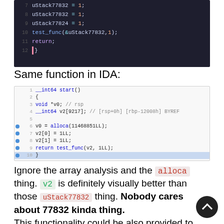[Figure (screenshot): Code screenshot showing lines 7-12 of a dark-themed editor with uStack77832 = 1; uStack77824 = 1; test_func(&uStack77832,1); return; closing brace]
Same function in IDA:
[Figure (screenshot): IDA decompiler screenshot showing int64 start() function with void *v0, __int64 v2[9217], v0 = alloca(11468851LL), v2[0]=1LL, v2[1]=1LL, return test_func(v2,1LL)]
Ignore the array analysis and the alloca thing. v2 is definitely visually better than those uStack77832 thing. Nobody cares about 77832 kinda thing. This functionality could be also provided to upstream. But in our case, we could set it to enabled by default but official